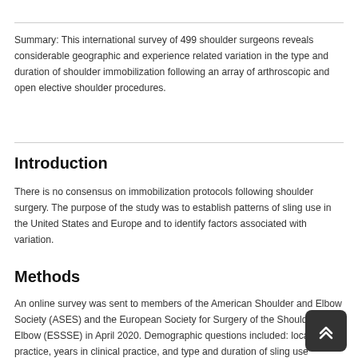Summary: This international survey of 499 shoulder surgeons reveals considerable geographic and experience related variation in the type and duration of shoulder immobilization following an array of arthroscopic and open elective shoulder procedures.
Introduction
There is no consensus on immobilization protocols following shoulder surgery. The purpose of the study was to establish patterns of sling use in the United States and Europe and to identify factors associated with variation.
Methods
An online survey was sent to members of the American Shoulder and Elbow Society (ASES) and the European Society for Surgery of the Shoulder and Elbow (ESSSE) in April 2020. Demographic questions included: location of practice, years in clinical practice, and type and duration of sling use following arthroscopic Bankart repair (ABR),